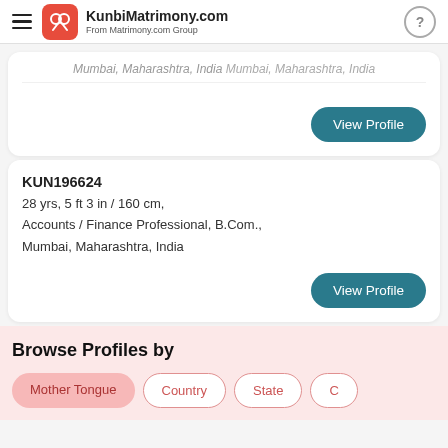KunbiMatrimony.com From Matrimony.com Group
Mumbai, Maharashtra, India
View Profile
KUN196624
28 yrs, 5 ft 3 in / 160 cm,
Accounts / Finance Professional, B.Com.,
Mumbai, Maharashtra, India
View Profile
Browse Profiles by
Mother Tongue
Country
State